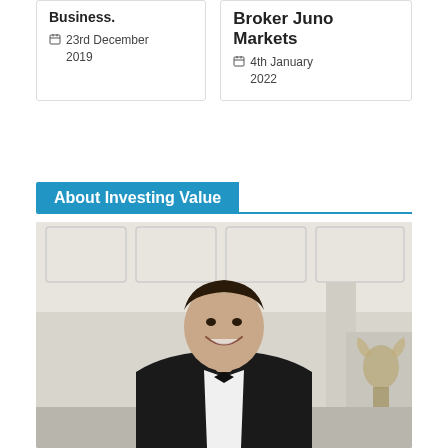Business. 23rd December 2019
Broker Juno Markets
4th January 2022
About Investing Value
[Figure (photo): Young man in black tuxedo with bow tie, smiling, standing in an ornate room with white decorative ceiling and gilded furniture in the background.]